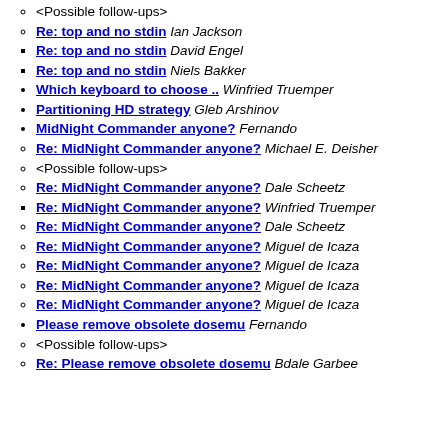<Possible follow-ups>
Re: top and no stdin Ian Jackson
Re: top and no stdin David Engel
Re: top and no stdin Niels Bakker
Which keyboard to choose .. Winfried Truemper
Partitioning HD strategy Gleb Arshinov
MidNight Commander anyone? Fernando
Re: MidNight Commander anyone? Michael E. Deisher
<Possible follow-ups>
Re: MidNight Commander anyone? Dale Scheetz
Re: MidNight Commander anyone? Winfried Truemper
Re: MidNight Commander anyone? Dale Scheetz
Re: MidNight Commander anyone? Miguel de Icaza
Re: MidNight Commander anyone? Miguel de Icaza
Re: MidNight Commander anyone? Miguel de Icaza
Re: MidNight Commander anyone? Miguel de Icaza
Please remove obsolete dosemu Fernando
<Possible follow-ups>
Re: Please remove obsolete dosemu Bdale Garbee